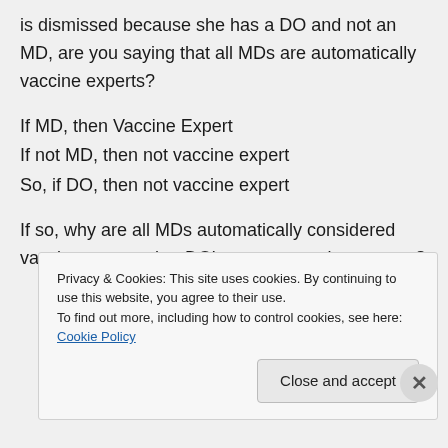is dismissed because she has a DO and not an MD, are you saying that all MDs are automatically vaccine experts?
If MD, then Vaccine Expert
If not MD, then not vaccine expert
So, if DO, then not vaccine expert
If so, why are all MDs automatically considered vaccine experts; but DO's are not vaccine experts?
Privacy & Cookies: This site uses cookies. By continuing to use this website, you agree to their use.
To find out more, including how to control cookies, see here: Cookie Policy